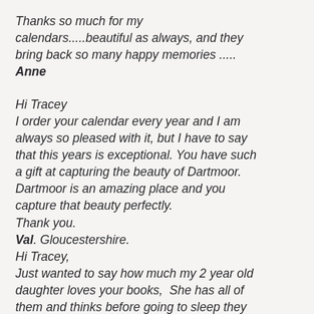Thanks so much for my calendars.....beautiful as always, and they bring back so many happy memories .....
Anne
Hi Tracey
I order your calendar every year and I am always so pleased with it, but I have to say that this years is exceptional. You have such a gift at capturing the beauty of Dartmoor. Dartmoor is an amazing place and you capture that beauty perfectly.
Thank you.
Val. Gloucestershire.
Hi Tracey,
Just wanted to say how much my 2 year old daughter loves your books,  She has all of them and thinks before going to sleep they...